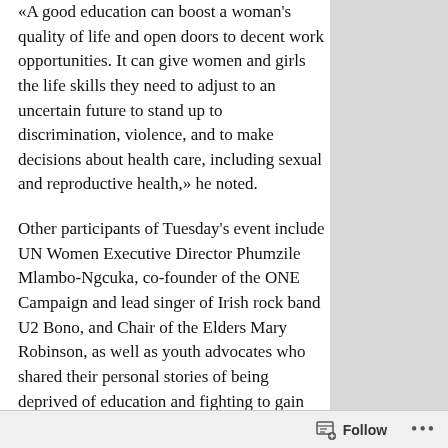«A good education can boost a woman's quality of life and open doors to decent work opportunities. It can give women and girls the life skills they need to adjust to an uncertain future to stand up to discrimination, violence, and to make decisions about health care, including sexual and reproductive health,» he noted.
Other participants of Tuesday's event include UN Women Executive Director Phumzile Mlambo-Ngcuka, co-founder of the ONE Campaign and lead singer of Irish rock band U2 Bono, and Chair of the Elders Mary Robinson, as well as youth advocates who shared their personal stories of being deprived of education and fighting to gain the right to it.
According to an Irish government website, Ireland will partner with the Global Partnership for Education, UN Women, the One Campaign and Malala Fund to «put a spotlight on adolescent girls' education» in «The Drive for Five» campaign.
The website says more than 130 million girls
Follow ···